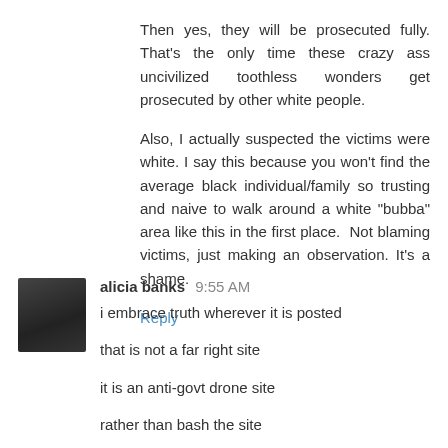Then yes, they will be prosecuted fully. That's the only time these crazy ass uncivilized toothless wonders get prosecuted by other white people.
Also, I actually suspected the victims were white. I say this because you won't find the average black individual/family so trusting and naive to walk around a white "bubba" area like this in the first place.  Not blaming victims, just making an observation. It's a shame.
Reply
alicia banks 9:55 AM
i embrace truth wherever it is posted
that is not a far right site
it is an anti-govt drone site
rather than bash the site